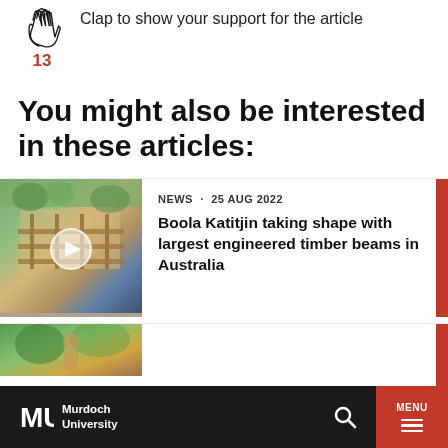[Figure (illustration): Clapping hands icon outline in red/dark color with number 13 below in red]
Clap to show your support for the article
You might also be interested in these articles:
[Figure (photo): Aerial construction site photo showing Boola Katitjin building under construction with timber beams, with a play button overlay]
NEWS · 25 AUG 2022
Boola Katitjin taking shape with largest engineered timber beams in Australia
[Figure (photo): Partially visible photo at bottom of page, appears to show a person outdoors]
Murdoch University  [search icon]  MENU